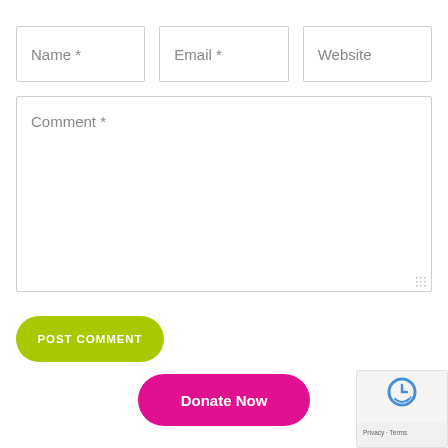Name *
Email *
Website
Comment *
POST COMMENT
Donate Now
[Figure (other): reCAPTCHA widget with Privacy and Terms text]